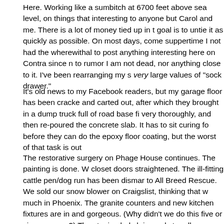Here. Working like a sumbitch at 6700 feet above sea level, on things that interesting to anyone but Carol and me. There is a lot of money tied up in t goal is to untie it as quickly as possible. On most days, come suppertime I not had the wherewithal to post anything interesting here on Contra since n to rumor I am not dead, nor anything close to it. I've been rearranging my s very large values of "sock drawer."
It's old news to my Facebook readers, but my garage floor has been cracke and carted out, after which they brought in a dump truck full of road base fi very thoroughly, and then re-poured the concrete slab. It has to sit curing fo before they can do the epoxy floor coating, but the worst of that task is out
The restorative surgery on Phage House continues. The painting is done. W closet doors straightened. The ill-fitting cattle pen/dog run has been dismar to All Breed Rescue. We sold our snow blower on Craigslist, thinking that w much in Phoenix. The granite counters and new kitchen fixtures are in and gorgeous. (Why didn't we do this five or six years ago?) The staging lady h is ready to roll as soon as we get everything not required for staging into be and energy allow I'm boxing up all the stuff that didn't go down to Phoenix b We've given a lot to Goodwill and our friend Deidre who has an indoor flea There's more than I thought. (More, and heavier. Think vintage power trans chokes.) Lots more.